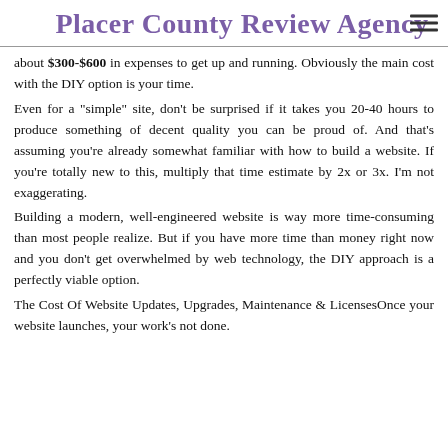Placer County Review Agency
about $300-$600 in expenses to get up and running. Obviously the main cost with the DIY option is your time.
Even for a "simple" site, don't be surprised if it takes you 20-40 hours to produce something of decent quality you can be proud of. And that's assuming you're already somewhat familiar with how to build a website. If you're totally new to this, multiply that time estimate by 2x or 3x. I'm not exaggerating.
Building a modern, well-engineered website is way more time-consuming than most people realize. But if you have more time than money right now and you don't get overwhelmed by web technology, the DIY approach is a perfectly viable option.
The Cost Of Website Updates, Upgrades, Maintenance & LicensesOnce your website launches, your work's not done.